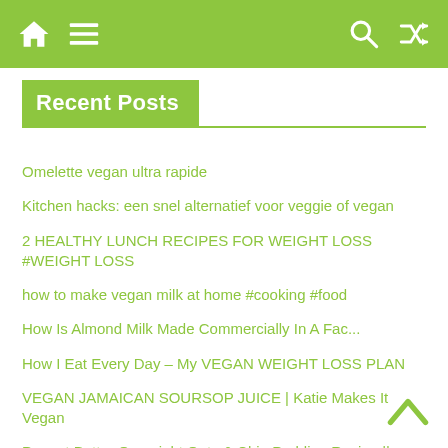Navigation bar with home, menu, search, and shuffle icons
Recent Posts
Omelette vegan ultra rapide
Kitchen hacks: een snel alternatief voor veggie of vegan
2 HEALTHY LUNCH RECIPES FOR WEIGHT LOSS #WEIGHT LOSS
how to make vegan milk at home #cooking #food
How Is Almond Milk Made Commercially In A Fac...
How I Eat Every Day – My VEGAN WEIGHT LOSS PLAN
VEGAN JAMAICAN SOURSOP JUICE | Katie Makes It Vegan
Peanut Butter Overnight Oats & Chia Pudding Recipe || Easy, Healthy & Quick || Infinity Platter